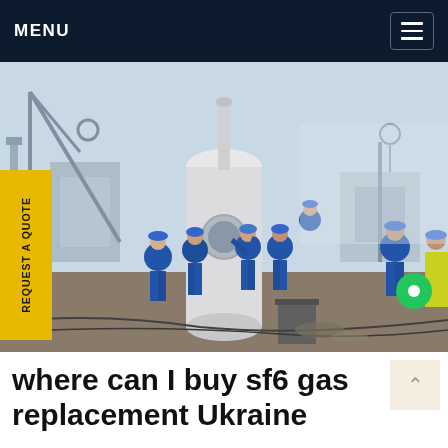MENU
[Figure (photo): Workers in blue coveralls and blue hard hats working on industrial electrical substation equipment. A large white cylindrical component is central. Multiple workers are visible, one climbing a ladder. Yellow construction crane visible in background. One worker on the right wearing a yellow safety vest.]
where can I buy sf6 gas replacement Ukraine